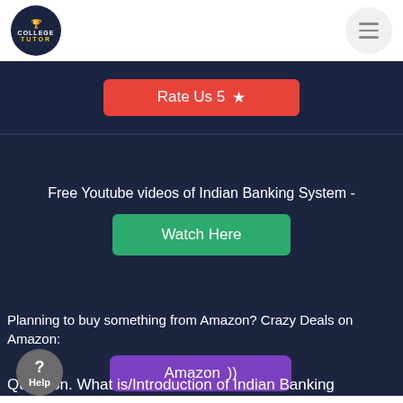[Figure (logo): College Tutor circular logo on white nav bar with hamburger menu icon]
Rate Us 5 ★
Free Youtube videos of Indian Banking System -
Watch Here
Planning to buy something from Amazon? Crazy Deals on Amazon:
Amazon )))
Question. What is/Introduction of Indian Banking System